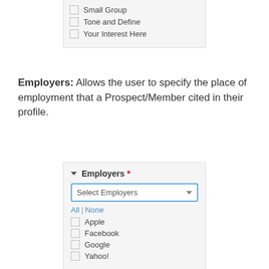Small Group
Tone and Define
Your Interest Here
Employers: Allows the user to specify the place of employment that a Prospect/Member cited in their profile.
[Figure (screenshot): Employers filter panel with a dropdown selector labeled 'Select Employers' with blue border, All | None links, and checkboxes for Apple, Facebook, Google, Yahoo!]